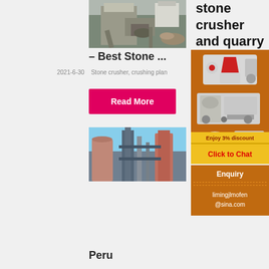[Figure (photo): Industrial stone crusher / quarry plant building with equipment and machinery visible]
– Best Stone ...
2021-6-30    Stone crusher, crushing plan
Read More
[Figure (photo): Industrial plant with tall silos and pipes against sky]
Peru
stone crusher and quarry plant in ica peru
[Figure (photo): Advertisement showing stone crusher and quarry machines - Enjoy 3% discount, Click to Chat]
Enquiry
limingjlmofen@sina.com